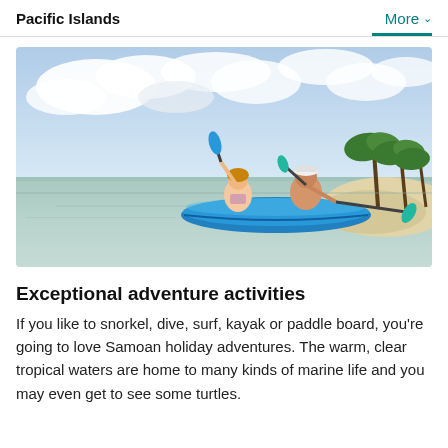Pacific Islands    More
[Figure (photo): A couple kayaking in clear tropical waters near a palm-tree-lined island shore, holding paddles in a blue kayak.]
Exceptional adventure activities
If you like to snorkel, dive, surf, kayak or paddle board, you're going to love Samoan holiday adventures. The warm, clear tropical waters are home to many kinds of marine life and you may even get to see some turtles.